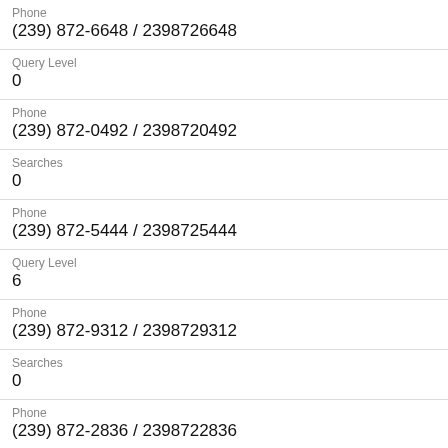Phone
(239) 872-6648 / 2398726648
Query Level
0
Phone
(239) 872-0492 / 2398720492
Searches
0
Phone
(239) 872-5444 / 2398725444
Query Level
6
Phone
(239) 872-9312 / 2398729312
Searches
0
Phone
(239) 872-2836 / 2398722836
Query Level